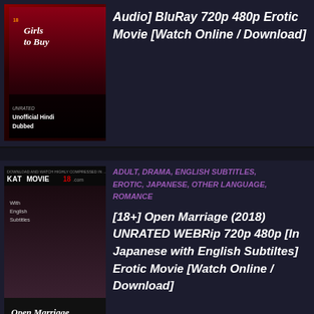[Figure (photo): Movie poster for 'Girls to Buy' with text 'Unofficial Hindi Dubbed', 18+ rating label, dark red background]
Audio] BluRay 720p 480p Erotic Movie [Watch Online / Download]
[Figure (photo): KatMovie18 logo and movie poster for 'Open Marriage' (Japanese: オープン・マリッジ), 18+ UnRated label]
ADULT, DRAMA, ENGLISH SUBTITLES, EROTIC, JAPANESE, OTHER LANGUAGE, ROMANCE
[18+] Open Marriage (2018) UNRATED WEBRip 720p 480p [In Japanese with English Subtiltes] Erotic Movie [Watch Online / Download]
[Figure (photo): KatMovie18 logo, partial third entry]
ADULT, DRAMA, ENGLISH SUBTITLES, EROTIC, JAPANESE, OTHER LANGUAGE